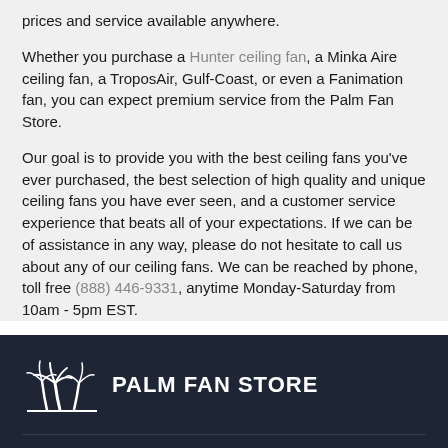prices and service available anywhere.
Whether you purchase a Hunter ceiling fan, a Minka Aire ceiling fan, a TroposAir, Gulf-Coast, or even a Fanimation fan, you can expect premium service from the Palm Fan Store.
Our goal is to provide you with the best ceiling fans you've ever purchased, the best selection of high quality and unique ceiling fans you have ever seen, and a customer service experience that beats all of your expectations. If we can be of assistance in any way, please do not hesitate to call us about any of our ceiling fans. We can be reached by phone, toll free (888) 446-9331, anytime Monday-Saturday from 10am - 5pm EST.
[Figure (logo): Palm Fan Store logo with palm tree icon and white text on dark background]
INFORMATION
BUY HERE
Support